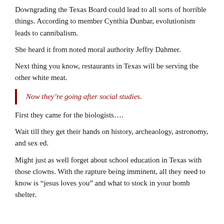Downgrading the Texas Board could lead to all sorts of horrible things. According to member Cynthia Dunbar, evolutionism leads to cannibalism.
She heard it from noted moral authority Jeffry Dahmer.
Next thing you know, restaurants in Texas will be serving the other white meat.
Now they’re going after social studies.
First they came for the biologists….
Wait till they get their hands on history, archeaology, astronomy, and sex ed.
Might just as well forget about school education in Texas with those clowns. With the rapture being imminent, all they need to know is “jesus loves you” and what to stock in your bomb shelter.